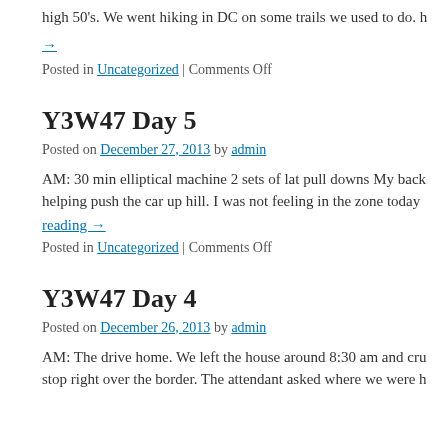high 50's. We went hiking in DC on some trails we used to do.
→
Posted in Uncategorized | Comments Off
Y3W47 Day 5
Posted on December 27, 2013 by admin
AM: 30 min elliptical machine 2 sets of lat pull downs My back helping push the car up hill. I was not feeling in the zone today
reading →
Posted in Uncategorized | Comments Off
Y3W47 Day 4
Posted on December 26, 2013 by admin
AM: The drive home. We left the house around 8:30 am and cru stop right over the border. The attendant asked where we were h